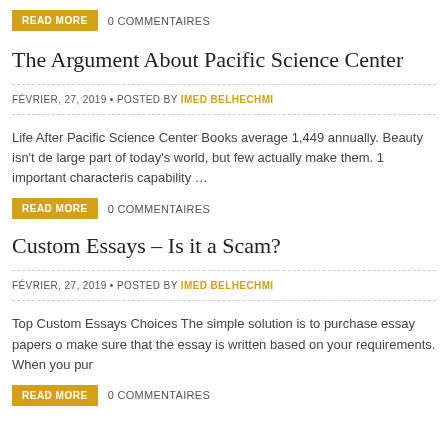READ MORE   0 COMMENTAIRES
The Argument About Pacific Science Center
FÉVRIER, 27, 2019 • POSTED BY IMED BELHECHMI
Life After Pacific Science Center Books average 1,449 annually. Beauty isn't de large part of today's world, but few actually make them. 1 important characteris capability …
READ MORE   0 COMMENTAIRES
Custom Essays – Is it a Scam?
FÉVRIER, 27, 2019 • POSTED BY IMED BELHECHMI
Top Custom Essays Choices The simple solution is to purchase essay papers o make sure that the essay is written based on your requirements. When you pur
READ MORE   0 COMMENTAIRES